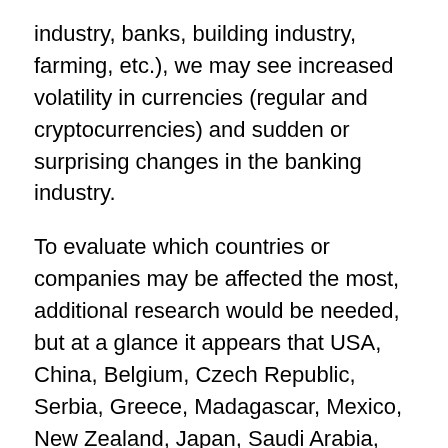industry, banks, building industry, farming, etc.), we may see increased volatility in currencies (regular and cryptocurrencies) and sudden or surprising changes in the banking industry.
To evaluate which countries or companies may be affected the most, additional research would be needed, but at a glance it appears that USA, China, Belgium, Czech Republic, Serbia, Greece, Madagascar, Mexico, New Zealand, Japan, Saudi Arabia, Syria, Vietnam, and European Union may be affected.
Global: Mid-May, 2018  through Apr 2026 (Uranus transit though Taurus) — Increased focus on cryptocurrencies, electronic financial transactions, virtual banking, community banking, and greater than usual fluctuations in currencies' value (electronic or otherwise). Similarly, this